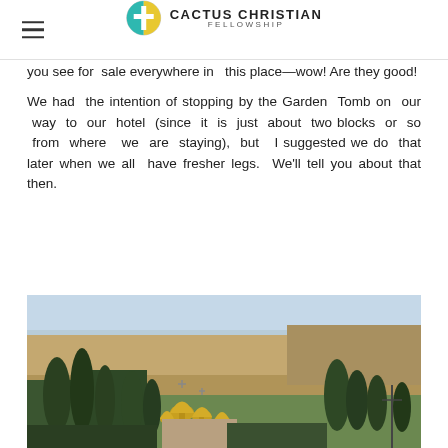CACTUS CHRISTIAN FELLOWSHIP
you see for sale everywhere in  this place—wow! Are they good!
We had  the intention of stopping by the Garden  Tomb on  our  way  to  our  hotel  (since  it  is  just  about  two blocks  or  so  from  where   we  are  staying),  but   I suggested we do  that later when we all  have fresher legs.  We'll tell you about that then.
[Figure (photo): Outdoor landscape photo showing golden onion domes of a church (likely the Church of Mary Magdalene) among cypress trees, with a hillside and rocky terrain in the background, likely in Jerusalem.]